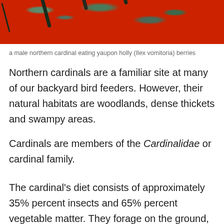[Figure (photo): A photo of tree branches with dark green leaves and red berries against a blurred background, depicting a northern cardinal eating yaupon holly berries]
a male northern cardinal eating yaupon holly (Ilex vomitoria) berries
Northern cardinals are a familiar site at many of our backyard bird feeders. However, their natural habitats are woodlands, dense thickets and swampy areas.
Cardinals are members of the Cardinalidae or cardinal family.
The cardinal's diet consists of approximately 35% percent insects and 65% percent vegetable matter. They forage on the ground, in thickets, under upper and lower